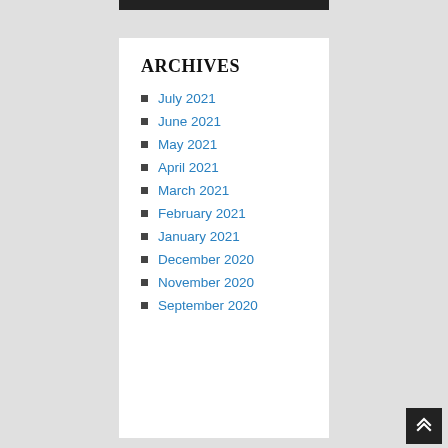ARCHIVES
July 2021
June 2021
May 2021
April 2021
March 2021
February 2021
January 2021
December 2020
November 2020
September 2020